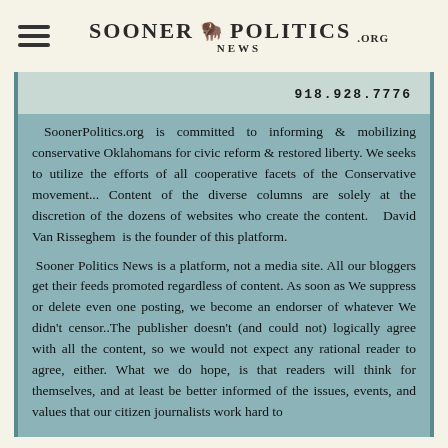SOONER POLITICS NEWS .ORG
918.928.7776
SoonerPolitics.org is committed to informing & mobilizing conservative Oklahomans for civic reform & restored liberty. We seeks to utilize the efforts of all cooperative facets of the Conservative movement... Content of the diverse columns are solely at the discretion of the dozens of websites who create the content.  David Van Risseghem  is the founder of this platform.
Sooner Politics News is a platform, not a media site. All our bloggers get their feeds promoted regardless of content. As soon as We suppress or delete even one posting, we become an endorser of whatever We didn't censor. The publisher doesn't (and could not) logically agree with all the content, so we would not expect any rational reader to agree, either. What we do hope, is that readers will think for themselves, and at least be better informed of the issues, events, and values that our citizen journalists work hard to